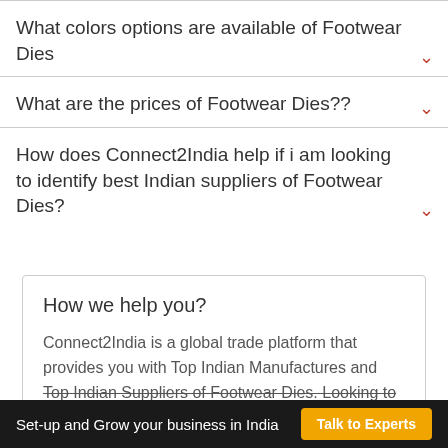What colors options are available of Footwear Dies
What are the prices of Footwear Dies??
How does Connect2India help if i am looking to identify best Indian suppliers of Footwear Dies?
How we help you?
Connect2India is a global trade platform that provides you with Top Indian Manufactures and Top Indian Suppliers of Footwear Dies. Looking to setup or expand your business in India?
Set-up and Grow your business in India  Talk to Experts